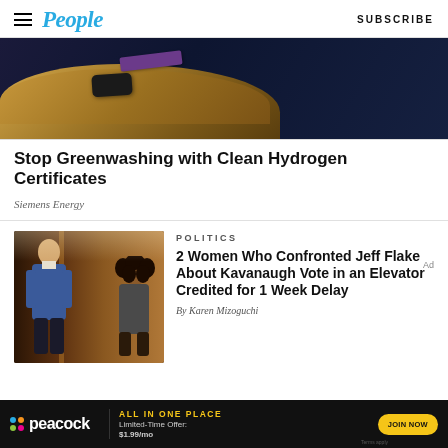People | SUBSCRIBE
[Figure (photo): A wooden table surface with a purple book and a black phone/device on it, against a dark blue background]
Stop Greenwashing with Clean Hydrogen Certificates
Siemens Energy
POLITICS
[Figure (photo): Two people in an elevator — a man in a blue suit and a woman with curly dark hair confronting him]
2 Women Who Confronted Jeff Flake About Kavanaugh Vote in an Elevator Credited for 1 Week Delay
By Karen Mizoguchi
[Figure (infographic): Peacock advertisement banner: ALL IN ONE PLACE | Limited-Time Offer: $1.99/mo | JOIN NOW | Terms apply]